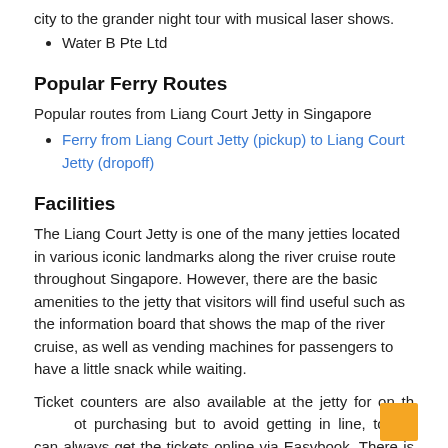city to the grander night tour with musical laser shows.
Water B Pte Ltd
Popular Ferry Routes
Popular routes from Liang Court Jetty in Singapore
Ferry from Liang Court Jetty (pickup) to Liang Court Jetty (dropoff)
Facilities
The Liang Court Jetty is one of the many jetties located in various iconic landmarks along the river cruise route throughout Singapore. However, there are the basic amenities to the jetty that visitors will find useful such as the information board that shows the map of the river cruise, as well as vending machines for passengers to have a little snack while waiting.
Ticket counters are also available at the jetty for on the spot purchasing but to avoid getting in line, tourist can always get the tickets online via Easybook. There is not much to go by at the jetty as it is fairly small, so it is fitting as a pick-up and drop-off point for